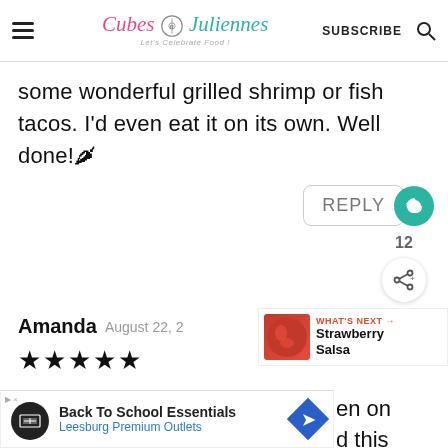Cubes N Juliennes – Let's Celebrate Food! | SUBSCRIBE
some wonderful grilled shrimp or fish tacos. I'd even eat it on its own. Well done!🌶
REPLY
12
Amanda   August 22, 2
WHAT'S NEXT → Strawberry Salsa
★★★★★
T… en on
a… d this
Back To School Essentials Leesburg Premium Outlets